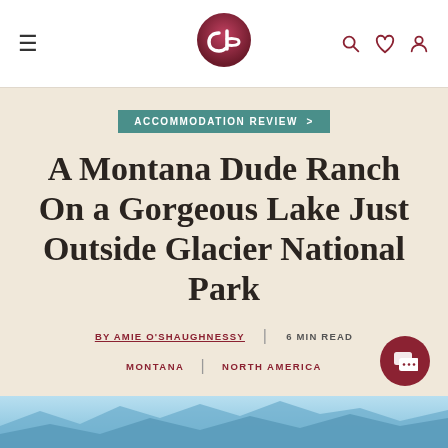Navigation bar with hamburger menu, CB logo, search, heart, and user icons
ACCOMMODATION REVIEW >
A Montana Dude Ranch On a Gorgeous Lake Just Outside Glacier National Park
BY AMIE O'SHAUGHNESSY | 6 MIN READ
MONTANA | NORTH AMERICA
[Figure (photo): Bottom strip showing blue sky and mountain landscape preview]